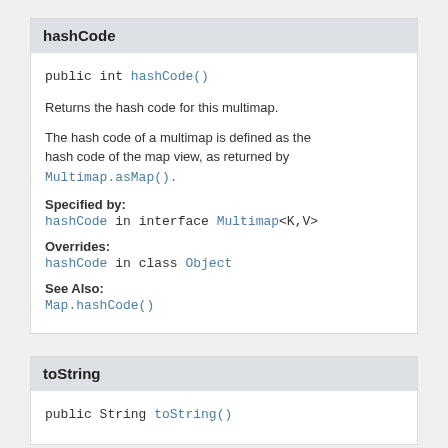hashCode
public int hashCode()
Returns the hash code for this multimap.
The hash code of a multimap is defined as the hash code of the map view, as returned by Multimap.asMap().
Specified by:
hashCode in interface Multimap<K,V>
Overrides:
hashCode in class Object
See Also:
Map.hashCode()
toString
public String toString()